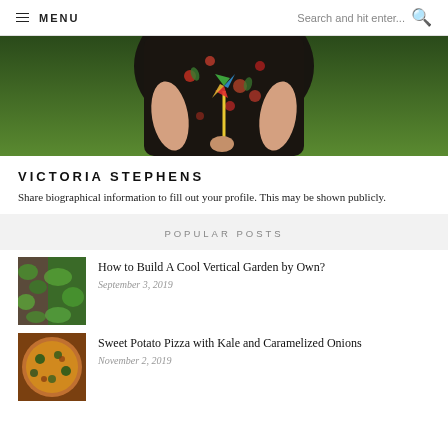MENU | Search and hit enter...
[Figure (photo): Person in floral dress holding a pinwheel outdoors on grass]
VICTORIA STEPHENS
Share biographical information to fill out your profile. This may be shown publicly.
POPULAR POSTS
[Figure (photo): Vertical garden with lush green plants on a wall]
How to Build A Cool Vertical Garden by Own?
September 3, 2019
[Figure (photo): Sweet potato pizza with kale and caramelized onions]
Sweet Potato Pizza with Kale and Caramelized Onions
November 2, 2019